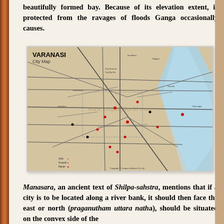beautifully formed bay. Because of its elevation extent, is protected from the ravages of floods Ganga occasionally causes.
[Figure (map): Varanasi City Map showing road network, the Ganga river (shown in blue), various landmarks, ghats, hospitals, and localities. Legend shows symbols for Ghat, Hospital, Mandir, Offices, Ashram. Watermark: www.mapsofworld.com. Copyright Compas Infobase Pvt. Ltd.]
Manasara, an ancient text of Shilpa-sahstra, mentions that if a city is to be located along a river bank, it should then face the east or north (praganutham uttara natha), and should be situated on the convex side of the